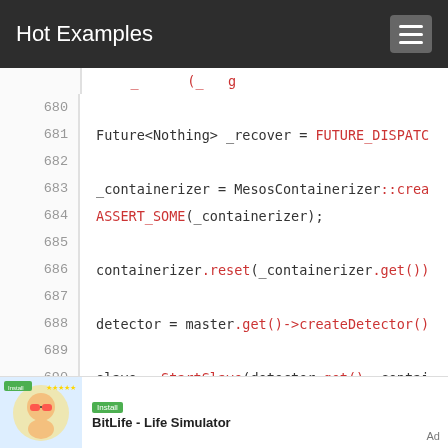Hot Examples
[Figure (screenshot): Code viewer showing lines 680-695 of C++ source code with line numbers on the left. Code includes Future<Nothing> _recover = FUTURE_DISPATCH..., _containerizer = MesosContainerizer::create..., ASSERT_SOME(_containerizer);, containerizer.reset(_containerizer.get()), detector = master.get()->createDetector(), slave = StartSlave(detector.get(), contai..., ASSERT_SOME(slave);, Clock::pause();, AWAIT_READY(_recover);]
[Figure (infographic): Advertisement banner for BitLife - Life Simulator app with icon]